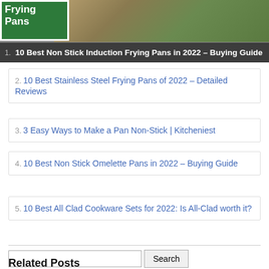[Figure (photo): Featured item 1: image of frying pan with food (brussels sprouts) and green logo overlay, with dark overlay text showing item 1 title]
1. 10 Best Non Stick Induction Frying Pans in 2022 – Buying Guide
2. 10 Best Stainless Steel Frying Pans of 2022 – Detailed Reviews
3. 3 Easy Ways to Make a Pan Non-Stick | Kitcheniest
4. 10 Best Non Stick Omelette Pans in 2022 – Buying Guide
5. 10 Best All Clad Cookware Sets for 2022: Is All-Clad worth it?
Related Posts